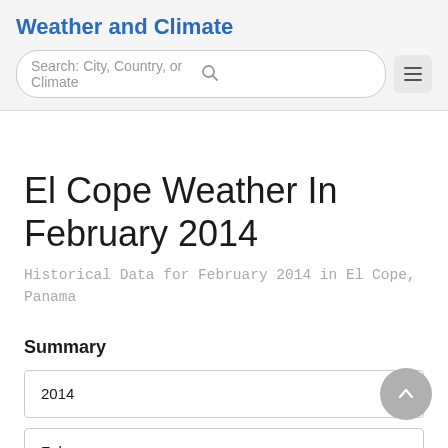Weather and Climate
El Cope Weather In February 2014
Historical Data for February 2014 in El Cope, Panama
Summary
2014
February